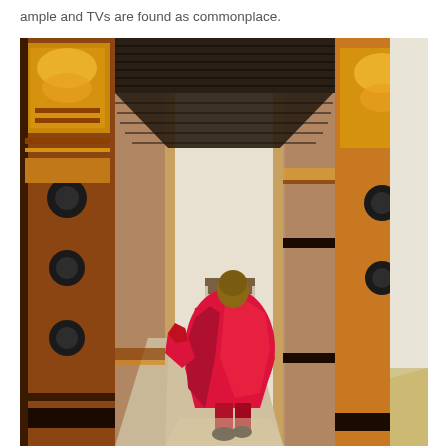ample and TVs are found as commonplace.
[Figure (photo): A monk dressed in a bright red robe walks away from the camera through a corridor of an ornately decorated Bhutanese dzong or monastery. The pillars on either side are richly painted with traditional patterns in orange, gold, and red. The ceiling above is dark wood slats. Stairs are visible in the background. The scene is brightly lit with sunlight casting shadows on the stone floor.]